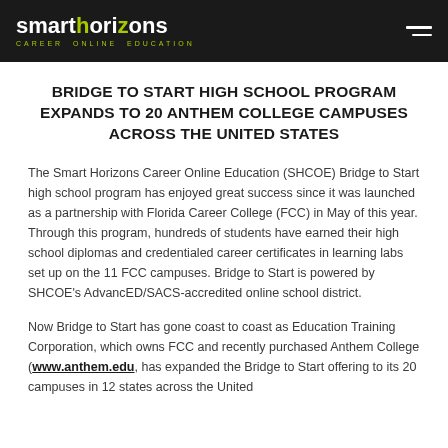smart horizons CAREER ONLINE EDUCATION
BRIDGE TO START HIGH SCHOOL PROGRAM EXPANDS TO 20 ANTHEM COLLEGE CAMPUSES ACROSS THE UNITED STATES
The Smart Horizons Career Online Education (SHCOE) Bridge to Start high school program has enjoyed great success since it was launched as a partnership with Florida Career College (FCC) in May of this year. Through this program, hundreds of students have earned their high school diplomas and credentialed career certificates in learning labs set up on the 11 FCC campuses. Bridge to Start is powered by SHCOE's AdvancED/SACS-accredited online school district.
Now Bridge to Start has gone coast to coast as Education Training Corporation, which owns FCC and recently purchased Anthem College (www.anthem.edu, has expanded the Bridge to Start offering to its 20 campuses in 12 states across the United